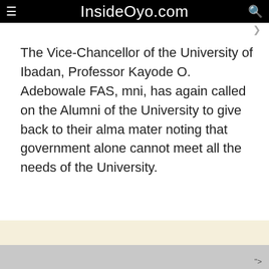InsideOyo.com
The Vice-Chancellor of the University of Ibadan, Professor Kayode O. Adebowale FAS, mni, has again called on the Alumni of the University to give back to their alma mater noting that government alone cannot meet all the needs of the University.